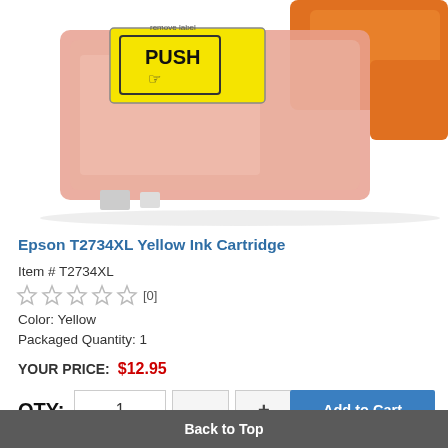[Figure (photo): Epson T2734XL yellow ink cartridge product photo showing a transparent cartridge body with yellow PUSH label on top and orange accent, partially cropped]
Epson T2734XL Yellow Ink Cartridge
Item # T2734XL
☆☆☆☆☆ [0]
Color: Yellow
Packaged Quantity: 1
YOUR PRICE: $12.95
QTY: 1 - + Add to Cart
Back to Top